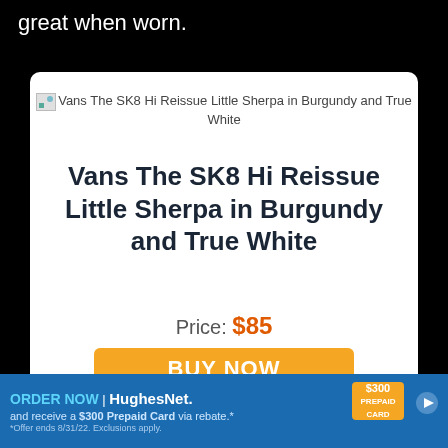great when worn.
Vans The SK8 Hi Reissue Little Sherpa in Burgundy and True White
Vans The SK8 Hi Reissue Little Sherpa in Burgundy and True White
Price: $85
BUY NOW
ORDER NOW | HughesNet. and receive a $300 Prepaid Card via rebate.* *Offer ends 8/31/22. Exclusions apply.